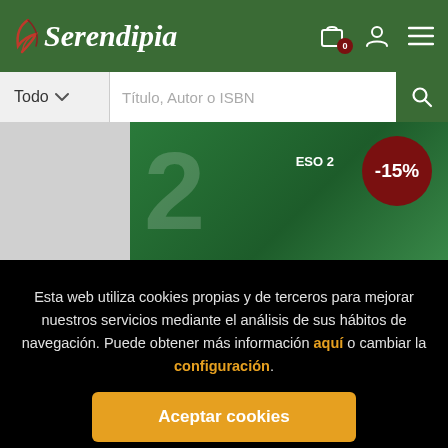Serendipia — header with logo, cart (0), user icon, menu
Todo    Título, Autor o ISBN
[Figure (screenshot): Partial book cover with green background, large numeral, ESO 2 label and -15% discount badge]
Esta web utiliza cookies propias y de terceros para mejorar nuestros servicios mediante el análisis de sus hábitos de navegación. Puede obtener más información aquí o cambiar la configuración.
Aceptar cookies